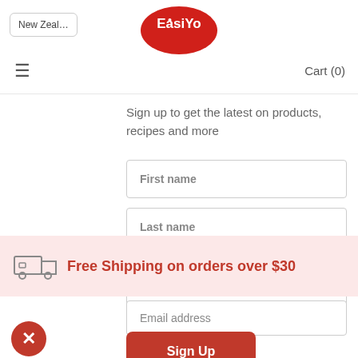New Zealand | EasiYo | Cart (0)
Sign up to get the latest on products, recipes and more
[Figure (screenshot): Form with First name, Last name, Email address input fields and Sign Up button]
[Figure (infographic): Free Shipping on orders over $30 banner with truck icon]
Free Shipping on orders over $30